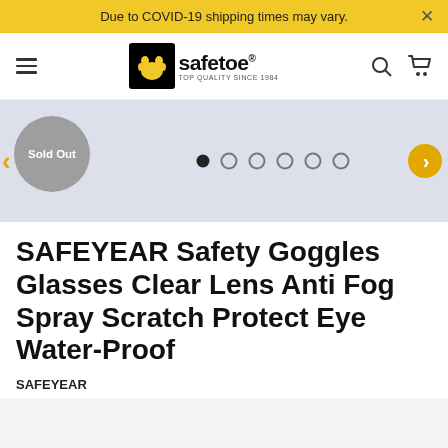Due to COVID-19 shipping times may vary.
[Figure (logo): Safetoe logo with paw print icon and text 'safetoe TOP QUALITY SINCE 1984']
[Figure (other): Product image carousel area with Sold Out badge, navigation arrows, and dot indicators. Shows 6 dots with first dot active.]
SAFEYEAR Safety Goggles Glasses Clear Lens Anti Fog Spray Scratch Protect Eye Water-Proof
SAFEYEAR